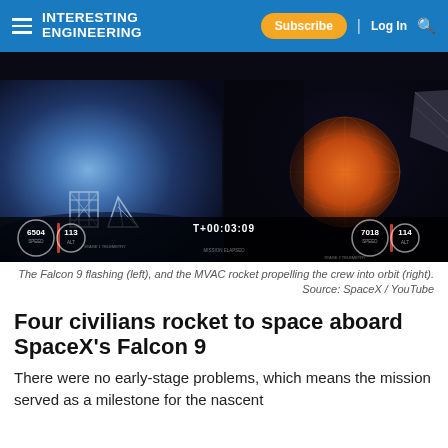INTERESTING ENGINEERING — Subscribe | Log In
[Figure (screenshot): Split screenshot from SpaceX YouTube stream showing Falcon 9 first stage landing hardware (left) and MVAC engine nozzle glowing orange (right), with telemetry overlay showing speed 6504, altitude 113 on left and speed 7018, altitude 114 on right, mission timer T+00:03:09]
The Falcon 9 flashing (left), and the MVAC rocket propelling the crew into orbit (right). Source: SpaceX / YouTube
Four civilians rocket to space aboard SpaceX's Falcon 9
There were no early-stage problems, which means the mission served as a milestone for the nascent